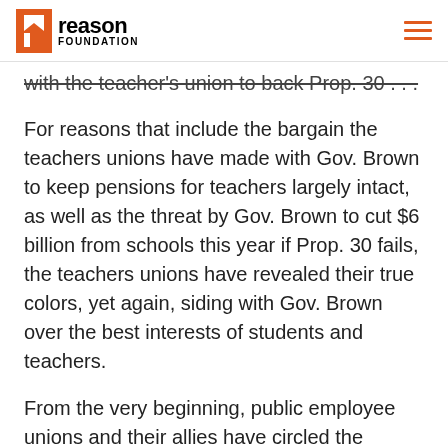reason FOUNDATION
with the teacher's union to back Prop. 30 . . .
For reasons that include the bargain the teachers unions have made with Gov. Brown to keep pensions for teachers largely intact, as well as the threat by Gov. Brown to cut $6 billion from schools this year if Prop. 30 fails, the teachers unions have revealed their true colors, yet again, siding with Gov. Brown over the best interests of students and teachers.
From the very beginning, public employee unions and their allies have circled the wagons in opposition to Prop. 38. They've spent tens of millions in direct support of Prop. 30, while